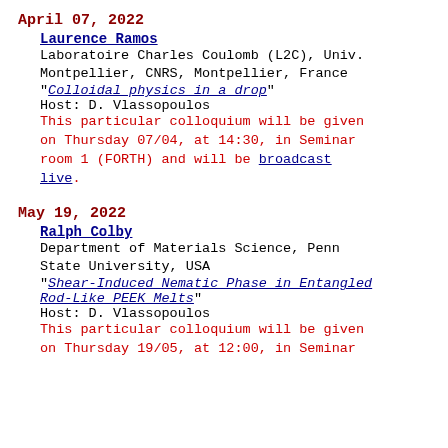April 07, 2022
Laurence Ramos
Laboratoire Charles Coulomb (L2C), Univ. Montpellier, CNRS, Montpellier, France
"Colloidal physics in a drop"
Host: D. Vlassopoulos
This particular colloquium will be given on Thursday 07/04, at 14:30, in Seminar room 1 (FORTH) and will be broadcast live.
May 19, 2022
Ralph Colby
Department of Materials Science, Penn State University, USA
"Shear-Induced Nematic Phase in Entangled Rod-Like PEEK Melts"
Host: D. Vlassopoulos
This particular colloquium will be given on Thursday 19/05, at 12:00, in Seminar